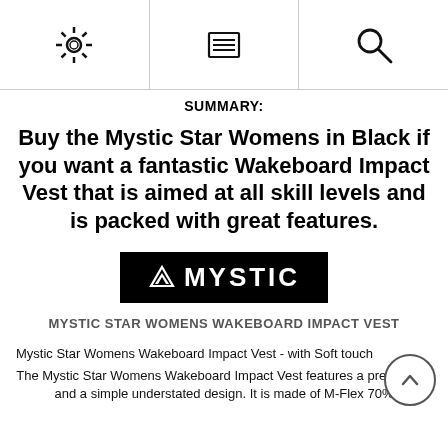[settings icon] [menu icon] [search icon]
SUMMARY:
Buy the Mystic Star Womens in Black if you want a fantastic Wakeboard Impact Vest that is aimed at all skill levels and is packed with great features.
[Figure (logo): Mystic brand logo — white text on black rectangle with triangular arrow icon]
MYSTIC STAR WOMENS WAKEBOARD IMPACT VEST
Mystic Star Womens Wakeboard Impact Vest - with Soft touch
The Mystic Star Womens Wakeboard Impact Vest features a premium fit and a simple understated design. It is made of M-Flex 70%